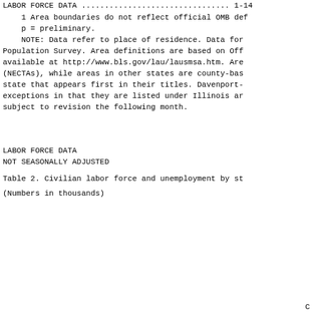LABOR FORCE DATA NOT SEASONALLY ADJUSTED
1 Area boundaries do not reflect official OMB def
p = preliminary.
NOTE: Data refer to place of residence. Data for Population Survey. Area definitions are based on Off available at http://www.bls.gov/lau/lausmsa.htm. Are (NECTAs), while areas in other states are county-bas state that appears first in their titles. Davenport- exceptions in that they are listed under Illinois ar subject to revision the following month.
LABOR FORCE DATA
NOT SEASONALLY ADJUSTED
Table 2. Civilian labor force and unemployment by st
(Numbers in thousands)
C